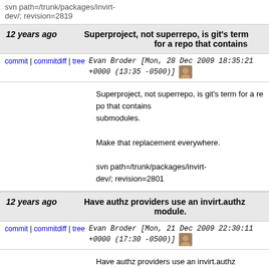svn path=/trunk/packages/invirt-dev/; revision=2819
12 years ago — Superproject, not superrepo, is git's term for a repo that contains
commit | commitdiff | tree   Evan Broder [Mon, 28 Dec 2009 18:35:21 +0000 (13:35 -0500)]
Superproject, not superrepo, is git's term for a repo that contains submodules.

Make that replacement everywhere.

svn path=/trunk/packages/invirt-dev/; revision=2801
12 years ago — Have authz providers use an invirt.authz module.
commit | commitdiff | tree   Evan Broder [Mon, 21 Dec 2009 22:30:11 +0000 (17:30 -0500)]
Have authz providers use an invirt.authz module.

xvm-authz-locker now includes an invirt.authz module instead of xvm.authz.locker. All authz providers conflict with e provide invirt-authz.